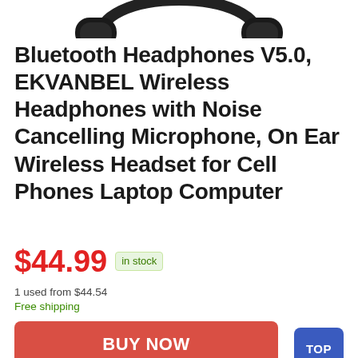[Figure (photo): Partial image of black Bluetooth over-ear headphones at the top of the page]
Bluetooth Headphones V5.0, EKVANBEL Wireless Headphones with Noise Cancelling Microphone, On Ear Wireless Headset for Cell Phones Laptop Computer
$44.99 in stock
1 used from $44.54
Free shipping
BUY NOW
Amazon.com
as of August 21, 2022 7:20 pm